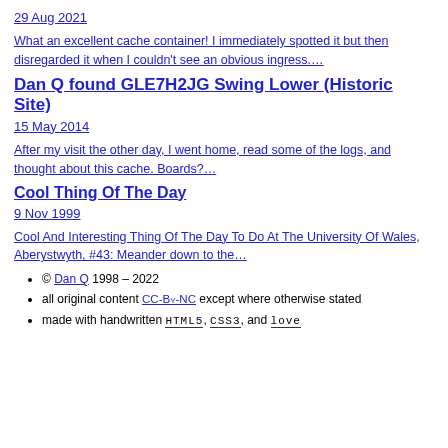29 Aug 2021
What an excellent cache container! I immediately spotted it but then disregarded it when I couldn't see an obvious ingress.…
Dan Q found GLE7H2JG Swing Lower (Historic Site)
15 May 2014
After my visit the other day, I went home, read some of the logs, and thought about this cache. Boards?…
Cool Thing Of The Day
9 Nov 1999
Cool And Interesting Thing Of The Day To Do At The University Of Wales, Aberystwyth, #43: Meander down to the…
© Dan Q 1998 – 2022
all original content CC-By-NC except where otherwise stated
made with handwritten HTML5, CSS3, and love